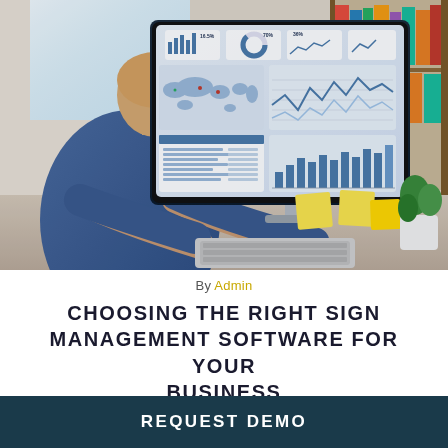[Figure (photo): Person sitting at a desk viewed from behind, typing on a keyboard, with a large desktop monitor displaying business dashboard charts including a world map, line charts, bar charts, and donut/pie charts. Books and a plant are visible in the background.]
By Admin
CHOOSING THE RIGHT SIGN MANAGEMENT SOFTWARE FOR YOUR BUSINESS
REQUEST DEMO